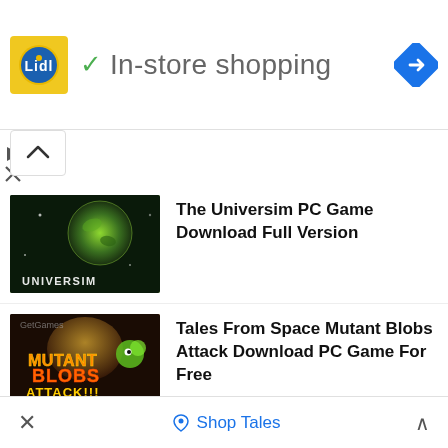[Figure (screenshot): Lidl logo square icon with yellow background, red and blue Lidl branding]
✓ In-store shopping
[Figure (screenshot): Blue diamond navigation/directions icon]
[Figure (screenshot): Collapse/chevron up button]
[Figure (screenshot): The Universim game thumbnail - green alien planet]
The Universim PC Game Download Full Version
[Figure (screenshot): Tales From Space Mutant Blobs Attack game thumbnail]
Tales From Space Mutant Blobs Attack Download PC Game For Free
[Figure (screenshot): Syberia game thumbnail - woman and man in snowy setting]
Syberia Free PC Game Download Full Version
Stationeers PC Game Download Full
×
Shop Tales
∧